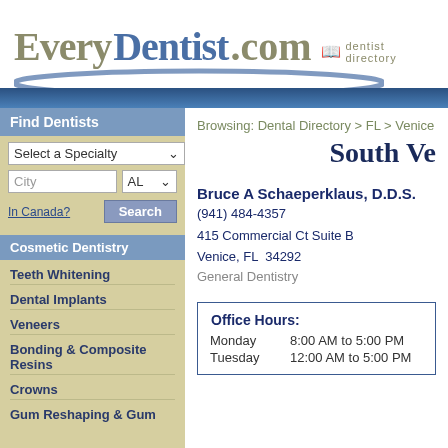[Figure (logo): EveryDentist.com dentist directory logo with blue swoosh and book icon]
Browsing: Dental Directory > FL > Venice
South Ve
Bruce A Schaeperklaus, D.D.S.
(941) 484-4357
415 Commercial Ct Suite B
Venice, FL  34292
General Dentistry
Find Dentists
Select a Specialty
City   AL
In Canada?   Search
Cosmetic Dentistry
Teeth Whitening
Dental Implants
Veneers
Bonding & Composite Resins
Crowns
Gum Reshaping & Gum
|  |  |
| --- | --- |
| Office Hours: |  |
| Monday | 8:00 AM to 5:00 PM |
| Tuesday | 12:00 AM to 5:00 PM |